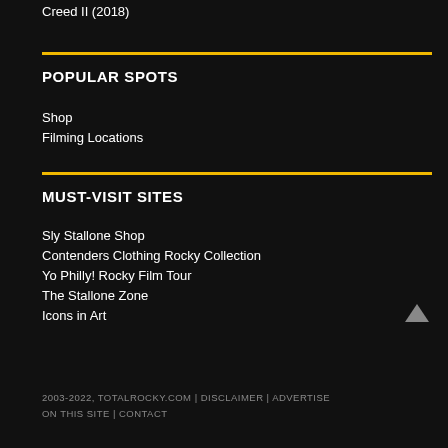Creed II (2018)
POPULAR SPOTS
Shop
Filming Locations
MUST-VISIT SITES
Sly Stallone Shop
Contenders Clothing Rocky Collection
Yo Philly! Rocky Film Tour
The Stallone Zone
Icons in Art
2003-2022, TOTALROCKY.COM | DISCLAIMER | ADVERTISE ON THIS SITE | CONTACT